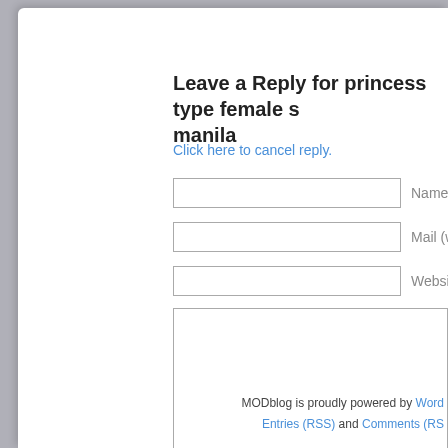Leave a Reply for princess type female s manila
Click here to cancel reply.
Name
Mail (will not be published)
Website
MODblog is proudly powered by WordPress. Entries (RSS) and Comments (RSS)